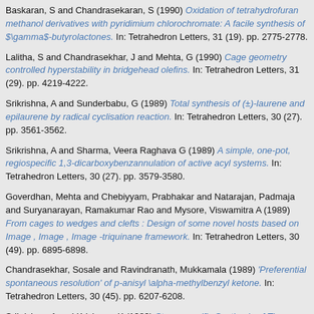Baskaran, S and Chandrasekaran, S (1990) Oxidation of tetrahydrofuran methanol derivatives with pyridimium chlorochromate: A facile synthesis of $\gamma$-butyrolactones. In: Tetrahedron Letters, 31 (19). pp. 2775-2778.
Lalitha, S and Chandrasekhar, J and Mehta, G (1990) Cage geometry controlled hyperstability in bridgehead olefins. In: Tetrahedron Letters, 31 (29). pp. 4219-4222.
Srikrishna, A and Sunderbabu, G (1989) Total synthesis of (±)-laurene and epilaurene by radical cyclisation reaction. In: Tetrahedron Letters, 30 (27). pp. 3561-3562.
Srikrishna, A and Sharma, Veera Raghava G (1989) A simple, one-pot, regiospecific 1,3-dicarboxybenzannulation of active acyl systems. In: Tetrahedron Letters, 30 (27). pp. 3579-3580.
Goverdhan, Mehta and Chebiyyam, Prabhakar and Natarajan, Padmaja and Suryanarayan, Ramakumar Rao and Mysore, Viswamitra A (1989) From cages to wedges and clefts : Design of some novel hosts based on Image , Image , Image -triquinane framework. In: Tetrahedron Letters, 30 (49). pp. 6895-6898.
Chandrasekhar, Sosale and Ravindranath, Mukkamala (1989) 'Preferential spontaneous resolution' of p-anisyl \alpha-methylbenzyl ketone. In: Tetrahedron Letters, 30 (45). pp. 6207-6208.
Srikrishna, A and Krishnan, K (1989) Stereospecific Synthesis of Thaps-7(15)-ene and thaps-6-ene, Probable Biogenetic Precursors of Thapsanes. In: Tetrahedron Letters, 30 (47). pp. 6577-6580.
Bhaskar , Vijaya K and Rao, Subba GSR (1989) Vinyl radical induced Michael